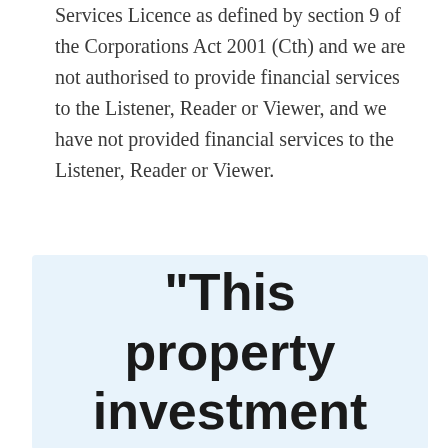Services Licence as defined by section 9 of the Corporations Act 2001 (Cth) and we are not authorised to provide financial services to the Listener, Reader or Viewer, and we have not provided financial services to the Listener, Reader or Viewer.
"This property investment